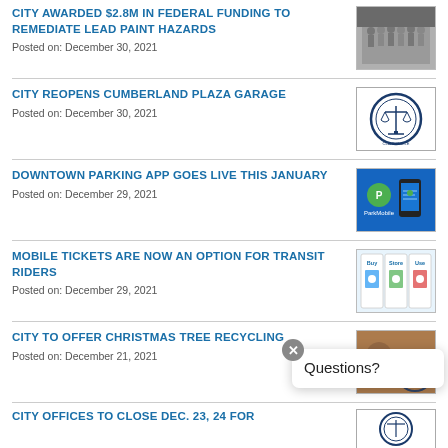CITY AWARDED $2.8M IN FEDERAL FUNDING TO REMEDIATE LEAD PAINT HAZARDS
Posted on: December 30, 2021
[Figure (photo): Group photo of people standing together]
CITY REOPENS CUMBERLAND PLAZA GARAGE
Posted on: December 30, 2021
[Figure (logo): City of Clarksville official seal]
DOWNTOWN PARKING APP GOES LIVE THIS JANUARY
Posted on: December 29, 2021
[Figure (screenshot): ParkMobile app screenshot on blue background]
MOBILE TICKETS ARE NOW AN OPTION FOR TRANSIT RIDERS
Posted on: December 29, 2021
[Figure (screenshot): Mobile transit ticket app showing Buy, Store, Use steps]
CITY TO OFFER CHRISTMAS TREE RECYCLING
Posted on: December 21, 2021
[Figure (photo): Photo with city seal overlay]
CITY OFFICES TO CLOSE DEC. 23, 24 FOR...
[Figure (logo): City of Clarksville seal]